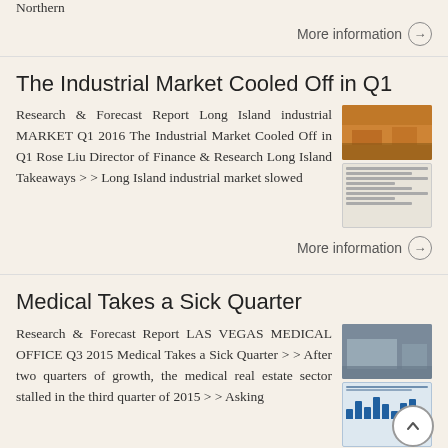Northern
More information →
The Industrial Market Cooled Off in Q1
Research & Forecast Report Long Island industrial MARKET Q1 2016 The Industrial Market Cooled Off in Q1 Rose Liu Director of Finance & Research Long Island Takeaways > > Long Island industrial market slowed
[Figure (photo): Thumbnail image of industrial facility exterior]
[Figure (screenshot): Thumbnail of research report document with data table]
More information →
Medical Takes a Sick Quarter
Research & Forecast Report LAS VEGAS MEDICAL OFFICE Q3 2015 Medical Takes a Sick Quarter > > After two quarters of growth, the medical real estate sector stalled in the third quarter of 2015 > > Asking
[Figure (photo): Thumbnail image of medical office building exterior]
[Figure (screenshot): Thumbnail of research report with bar chart]